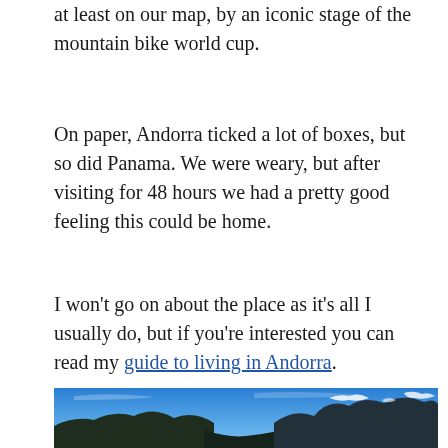at least on our map, by an iconic stage of the mountain bike world cup.
On paper, Andorra ticked a lot of boxes, but so did Panama. We were weary, but after visiting for 48 hours we had a pretty good feeling this could be home.
I won't go on about the place as it's all I usually do, but if you're interested you can read my guide to living in Andorra.
[Figure (photo): Mountain landscape with snow-capped peaks against a blue sky, dark forested slopes in the foreground]